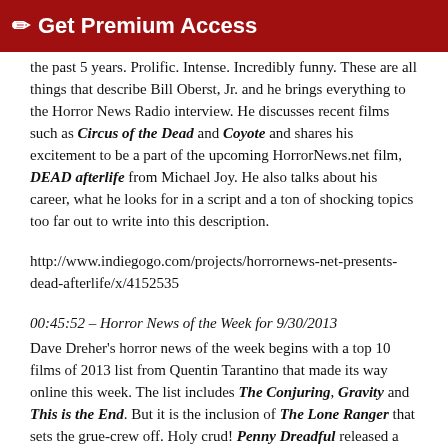🖊 Get Premium Access
the past 5 years. Prolific. Intense. Incredibly funny. These are all things that describe Bill Oberst, Jr. and he brings everything to the Horror News Radio interview. He discusses recent films such as Circus of the Dead and Coyote and shares his excitement to be a part of the upcoming HorrorNews.net film, DEAD afterlife from Michael Joy. He also talks about his career, what he looks for in a script and a ton of shocking topics too far out to write into this description.
http://www.indiegogo.com/projects/horrornews-net-presents-dead-afterlife/x/4152535
00:45:52 – Horror News of the Week for 9/30/2013
Dave Dreher's horror news of the week begins with a top 10 films of 2013 list from Quentin Tarantino that made its way online this week. The list includes The Conjuring, Gravity and This is the End. But it is the inclusion of The Lone Ranger that sets the grue-crew off. Holy crud! Penny Dreadful released a series of set photos that Dave wants to discuss but he quickly discovers the crew more interested in panning the trailer for I, Frankenstein. Even more controversial is the news that Showtime did not allow the writers of Dexter to kill off the character on the series finale. Next up